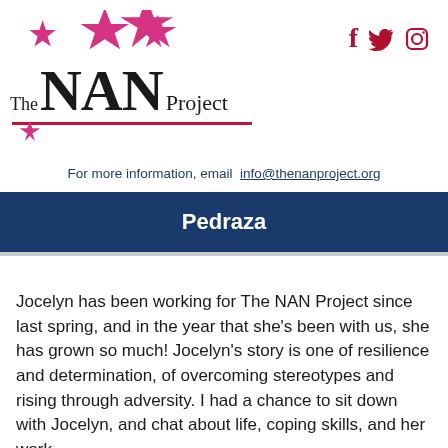[Figure (logo): The NAN Project logo with pink/magenta stars arranged above the text and a pink underline beneath]
[Figure (infographic): Social media icons: Facebook (f), Twitter (bird), Instagram (camera outline) in dark red/crimson]
For more information, email info@thenanproject.org
Pedraza
Jocelyn has been working for The NAN Project since last spring, and in the year that she's been with us, she has grown so much! Jocelyn's story is one of resilience and determination, of overcoming stereotypes and rising through adversity. I had a chance to sit down with Jocelyn, and chat about life, coping skills, and her work